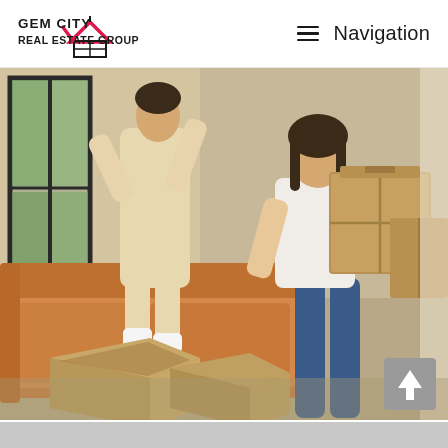GEM CITY REAL ESTATE GROUP | Navigation
[Figure (photo): Two people moving into a new home. A woman in a white blouse and jeans is smiling and carrying a large cardboard box. Another person in beige overalls is jumping/dancing on a tan leather couch. Open cardboard boxes are on the floor. Large windows show a garden outside.]
[Figure (other): Scroll-to-top button with upward arrow icon, gray background, bottom right corner]